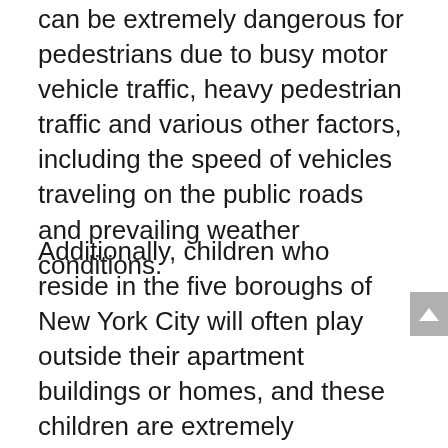can be extremely dangerous for pedestrians due to busy motor vehicle traffic, heavy pedestrian traffic and various other factors, including the speed of vehicles traveling on the public roads and prevailing weather conditions.
Additionally, children who reside in the five boroughs of New York City will often play outside their apartment buildings or homes, and these children are extremely vulnerable to an accident with a motor vehicle because they may run into the street to get a ball or walk/run in between parked vehicles. Drivers and operators of any type of motor vehicle on the public roads throughout the City of New York still have an obligation to be keenly alert for children during...